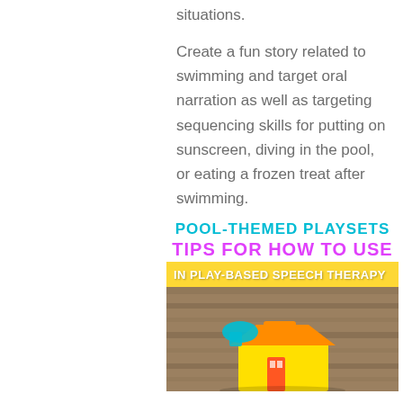situations.
Create a fun story related to swimming and target oral narration as well as targeting sequencing skills for putting on sunscreen, diving in the pool, or eating a frozen treat after swimming.
[Figure (infographic): Infographic for pool-themed playsets in play-based speech therapy, featuring colorful text headings and a photo of a toy playset house on a wooden surface]